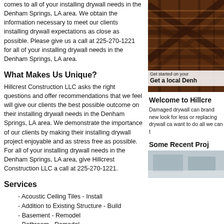comes to all of your installing drywall needs in the Denham Springs, LA area. We obtain the information necessary to meet our clients installing drywall expectations as close as possible. Please give us a call at 225-270-1221 for all of your installing drywall needs in the Denham Springs, LA area.
What Makes Us Unique?
Hillcrest Construction LLC asks the right questions and offer recommendations that we feel will give our clients the best possible outcome on their installing drywall needs in the Denham Springs, LA area. We demonstrate the importance of our clients by making their installing drywall project enjoyable and as stress free as possible. For all of your installing drywall needs in the Denham Springs, LA area, give Hillcrest Construction LLC a call at 225-270-1221.
Services
- Acoustic Ceiling Tiles - Install
- Addition to Existing Structure - Build
- Basement - Remodel
- Bathroom - Remodel
- Brick or Stone Siding: Install or Completely Replace
- Cabinets - Install
[Figure (photo): Old wooden barn interior structure with crossed beams, dark brown wood tones]
Get started on your
Get a local Denh
Welcome to Hillcre
Damaged drywall can brand new look for less or replacing drywall ca want to do all we can t
Some Recent Proj
[Figure (photo): Recent project photo, light grey/blue tones, construction interior]